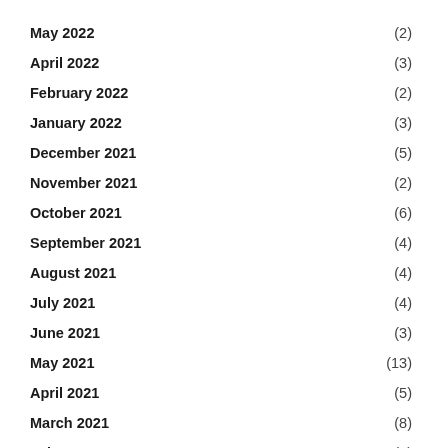May 2022 (2)
April 2022 (3)
February 2022 (2)
January 2022 (3)
December 2021 (5)
November 2021 (2)
October 2021 (6)
September 2021 (4)
August 2021 (4)
July 2021 (4)
June 2021 (3)
May 2021 (13)
April 2021 (5)
March 2021 (8)
February 2021 (3)